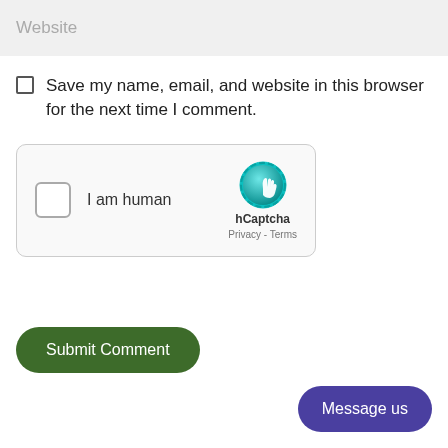Website
Save my name, email, and website in this browser for the next time I comment.
[Figure (other): hCaptcha widget with checkbox labeled 'I am human' and hCaptcha logo with Privacy - Terms links]
Submit Comment
Message us